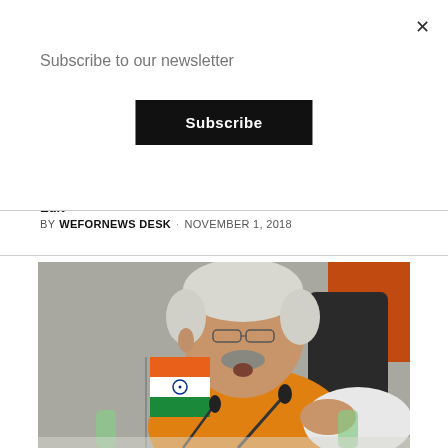Subscribe to our newsletter
Subscribe
Edit
BY WEFORNEWS DESK · NOVEMBER 1, 2018
[Figure (photo): An elderly Indian politician with white hair and mustache, wearing an orange vest (Nehru jacket) over a white kurta, speaking at a press conference. He gestures with his right hand. A small Indian tricolour flag is visible on the left side of the table along with microphones and water bottles. The background has a grey wall with an orange panel on the right.]